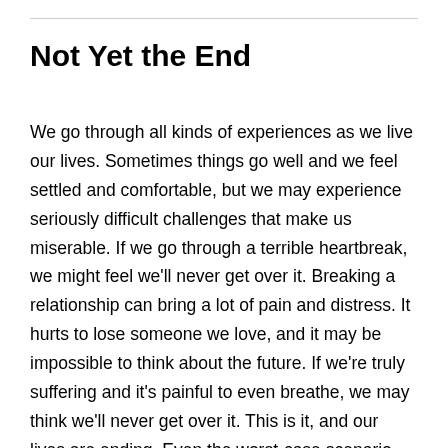Not Yet the End
We go through all kinds of experiences as we live our lives. Sometimes things go well and we feel settled and comfortable, but we may experience seriously difficult challenges that make us miserable. If we go through a terrible heartbreak, we might feel we'll never get over it. Breaking a relationship can bring a lot of pain and distress. It hurts to lose someone we love, and it may be impossible to think about the future. If we're truly suffering and it's painful to even breathe, we may think we'll never get over it. This is it, and our lives are ending. Even the worst-case scenario where we are devastated and completely lost doesn't mean we're done. The end of a relationship isn't the end of us. It may really hurt badly, and we may think